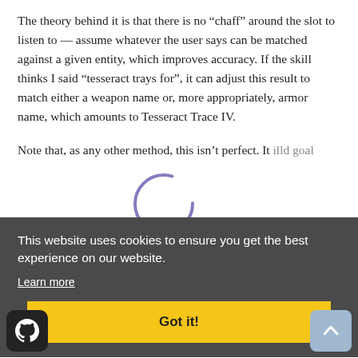The theory behind it is that there is no “chaff” around the slot to listen to — assume whatever the user says can be matched against a given entity, which improves accuracy. If the skill thinks I said “tesseract trays for”, it can adjust this result to match either a weapon name or, more appropriately, armor name, which amounts to Tesseract Trace IV.
[Figure (other): Circular loading spinner graphic, partially visible, in purple/indigo outline style, centered around coordinates (535, 555) of the original page.]
Note that, as any other method, this isn’t perfect. It [partially obscured text] ...d goal [partially obscured] ...ons, [partially obscured] ...asant [partially obscured] ...selves [partially obscured] ...d [partially obscured] ...ap, [partially obscured] consists of only one slot with the value you wish to
This website uses cookies to ensure you get the best experience on our website.
Learn more
Got it!
[Figure (logo): GitHub logo (Octocat) icon on a dark rounded square background, bottom-left corner.]
[Figure (other): Scroll-to-top button with upward chevron arrow, light blue rounded square, bottom-right corner.]